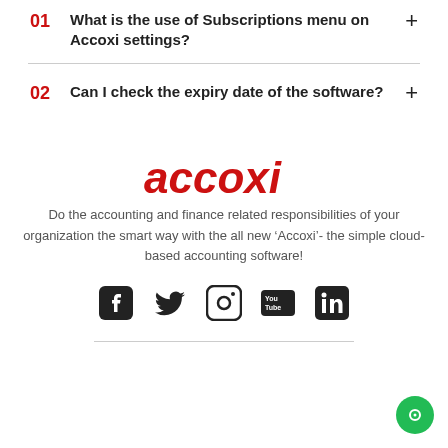01  What is the use of Subscriptions menu on Accoxi settings?
02  Can I check the expiry date of the software?
[Figure (logo): Accoxi logo in red italic bold text]
Do the accounting and finance related responsibilities of your organization the smart way with the all new ‘Accoxi’- the simple cloud-based accounting software!
[Figure (infographic): Social media icons: Facebook, Twitter, Instagram, YouTube, LinkedIn]
[Figure (other): Green chat bubble button in bottom right corner]